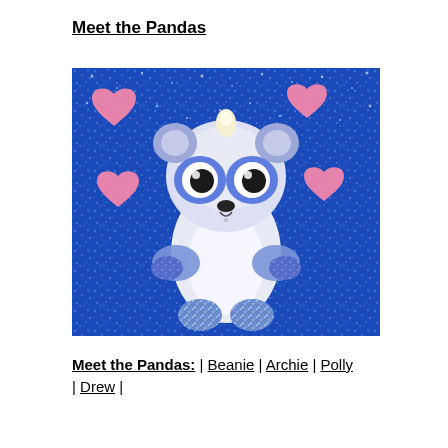Meet the Pandas
[Figure (photo): A blue-and-white toy panda figurine with large blue eyes, a small dark nose, and glittery blue/green feet and paws, posed on a bright blue glitter background with pink heart decorations surrounding it.]
Meet the Pandas: | Beanie | Archie | Polly | Drew |